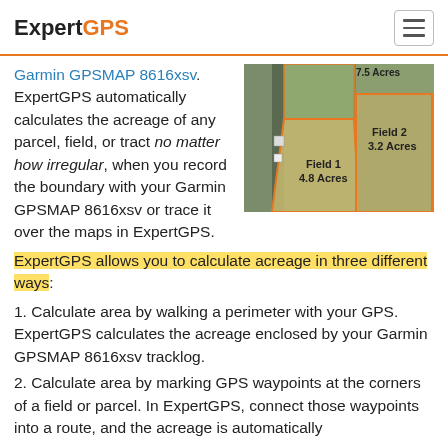ExpertGPS
Garmin GPSMAP 8616xsv. ExpertGPS automatically calculates the acreage of any parcel, field, or tract no matter how irregular, when you record the boundary with your Garmin GPSMAP 8616xsv or trace it over the maps in ExpertGPS.
[Figure (photo): Aerial satellite map showing two outlined fields labeled Field 1 (4.8 Acres) and Field 2 (3.2 Acres), with a partial label at top reading 7.5 Acres]
ExpertGPS allows you to calculate acreage in three different ways:
1. Calculate area by walking a perimeter with your GPS. ExpertGPS calculates the acreage enclosed by your Garmin GPSMAP 8616xsv tracklog.
2. Calculate area by marking GPS waypoints at the corners of a field or parcel. In ExpertGPS, connect those waypoints into a route, and the acreage is automatically